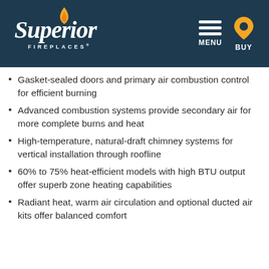[Figure (logo): Superior Fireplaces logo with flame icon on dark navy header, with MENU and BUY navigation icons on the right]
Gasket-sealed doors and primary air combustion control for efficient burning
Advanced combustion systems provide secondary air for more complete burns and heat
High-temperature, natural-draft chimney systems for vertical installation through roofline
60% to 75% heat-efficient models with high BTU output offer superb zone heating capabilities
Radiant heat, warm air circulation and optional ducted air kits offer balanced comfort